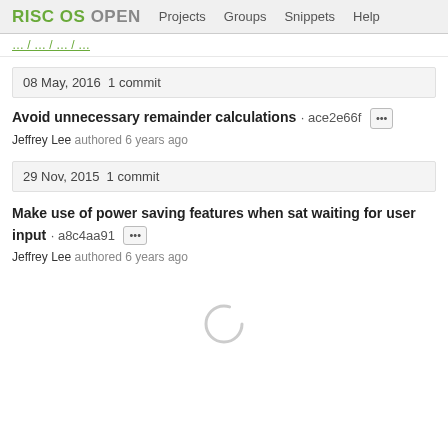RISC OS OPEN  Projects  Groups  Snippets  Help
(truncated link/breadcrumb)
08 May, 2016  1 commit
Avoid unnecessary remainder calculations · ace2e66f
Jeffrey Lee  authored 6 years ago
29 Nov, 2015  1 commit
Make use of power saving features when sat waiting for user input · a8c4aa91
Jeffrey Lee  authored 6 years ago
[Figure (other): Loading spinner (animated circle arc)]